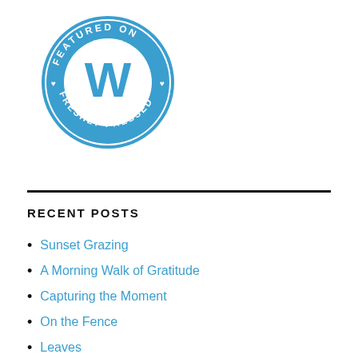[Figure (logo): WordPress 'Featured on Freshly Pressed' circular blue badge with white W logo and text around the border reading FEATURED ON and FRESHLY PRESSED with small hearts on the sides]
RECENT POSTS
Sunset Grazing
A Morning Walk of Gratitude
Capturing the Moment
On the Fence
Leaves